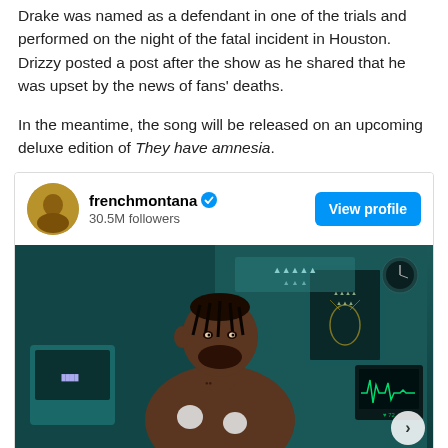Drake was named as a defendant in one of the trials and performed on the night of the fatal incident in Houston. Drizzy posted a post after the show as he shared that he was upset by the news of fans' deaths.
In the meantime, the song will be released on an upcoming deluxe edition of They have amnesia.
[Figure (screenshot): Instagram profile card for frenchmontana with 30.5M followers, a View profile button, and a photo of a shirtless man with braids and a beard in what appears to be a medical setting with ECG monitors and electrode pads on his chest.]